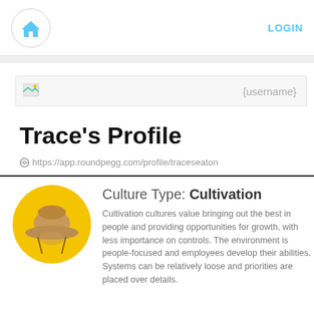LOGIN
{username}
Trace's Profile
https://app.roundpegg.com/profile/traceseaton
Culture Type: Cultivation
Cultivation cultures value bringing out the best in people and providing opportunities for growth, with less importance placed on controls. The environment is people-focused and employees are encouraged to develop their abilities. Systems can be relatively loose and the big picture is prioritized over details.